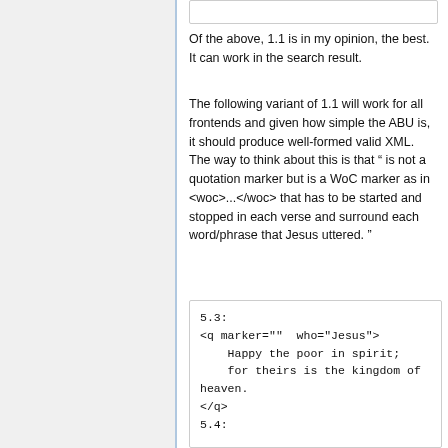Of the above, 1.1 is in my opinion, the best. It can work in the search result.
The following variant of 1.1 will work for all frontends and given how simple the ABU is, it should produce well-formed valid XML. The way to think about this is that “ is not a quotation marker but is a WoC marker as in <woc>...</woc> that has to be started and stopped in each verse and surround each word/phrase that Jesus uttered. ”
5.3:
<q marker=""  who="Jesus">
    Happy the poor in spirit;
    for theirs is the kingdom of heaven.
</q>
5.4: